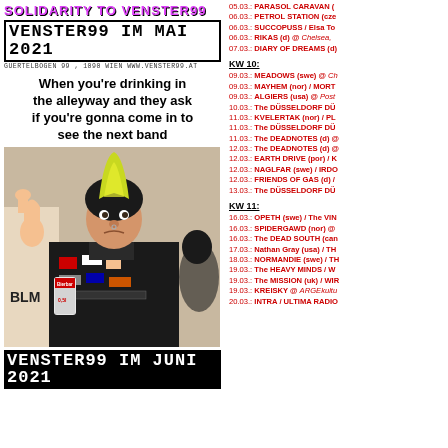Solidarity to Venster99
VENSTER99 IM MAI 2021
GUERTELBOGEN 99 , 1090 WIEN WWW.VENSTER99.AT
When you're drinking in the alleyway and they ask if you're gonna come in to see the next band
[Figure (photo): Photomontage of a person with a punk yellow mohawk hairstyle holding a beer can, wearing a studded vest with patches, BLM sign visible in background]
VENSTER99 IM JUNI 2021
05.03.: PARASOL CARAVAN (
06.03.: PETROL STATION (cze
06.03.: SUCCOPUSS / Elsa To
06.03.: RIKAS (d) @ Chelsea,
07.03.: DIARY OF DREAMS (d)
KW 10:
09.03.: MEADOWS (swe) @ Ch
09.03.: MAYHEM (nor) / MORT
09.03.: ALGIERS (usa) @ Post
10.03.: The DÜSSELDORF DÜ
11.03.: KVELERTAK (nor) / PL
11.03.: The DÜSSELDORF DÜ
11.03.: The DEADNOTES (d) @
12.03.: The DEADNOTES (d) @
12.03.: EARTH DRIVE (por) / K
12.03.: NAGLFAR (swe) / IRDO
12.03.: FRIENDS OF GAS (d) /
13.03.: The DÜSSELDORF DÜ
KW 11:
16.03.: OPETH (swe) / The VIN
16.03.: SPIDERGAWD (nor) @
16.03.: The DEAD SOUTH (can
17.03.: Nathan Gray (usa) / TH
18.03.: NORMANDIE (swe) / TH
19.03.: The HEAVY MINDS / W
19.03.: The MISSION (uk) / WIR
19.03.: KREISKY @ ARGEkultu
20.03.: INTRA / ULTIMA RADIO